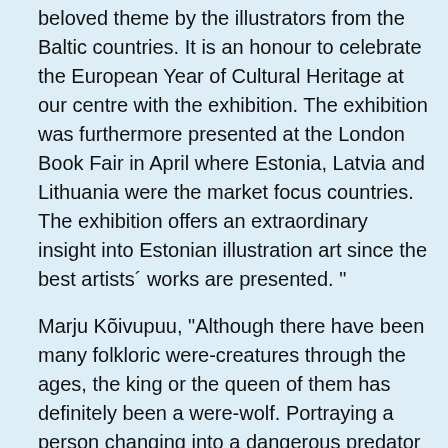beloved theme by the illustrators from the Baltic countries. It is an honour to celebrate the European Year of Cultural Heritage at our centre with the exhibition. The exhibition was furthermore presented at the London Book Fair in April where Estonia, Latvia and Lithuania were the market focus countries. The exhibition offers an extraordinary insight into Estonian illustration art since the best artists´ works are presented.
Marju Kõivupuu, "Although there have been many folkloric were-creatures through the ages, the king or the queen of them has definitely been a were-wolf. Portraying a person changing into a dangerous predator was especially loved in the Middle Ages. Today, the wolf as a smart predator has become a symbol of independence and bravery. Interesting in this sense is Clarissa Pinkola Estés book "Women Who Run With the Wolves" where the author sees